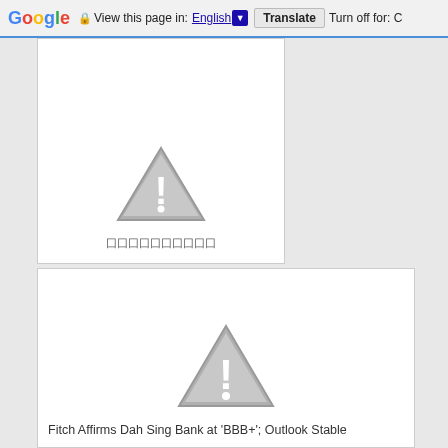Google  View this page in: English [▼]  Translate  Turn off for: C
[Figure (screenshot): Broken image placeholder with warning triangle icon and garbled text (Chinese/CJK characters) caption below]
[Figure (screenshot): Broken image placeholder with warning triangle icon]
Fitch Affirms Dah Sing Bank at 'BBB+'; Outlook Stable